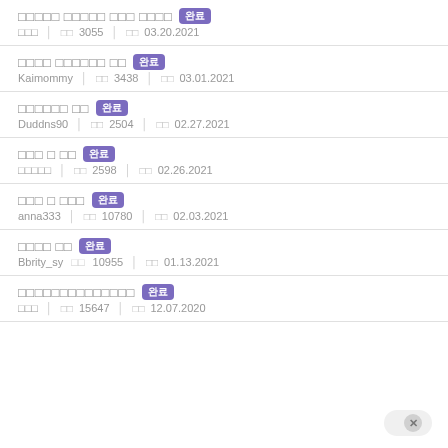□□□□□ □□□□□ □□□ □□□□ 완료 □□□ □□ 3055 □□ 03.20.2021
□□□□ □□□□□□ □□ 완료 Kaimommy □□ 3438 □□ 03.01.2021
□□□□□□ □□ 완료 Duddns90 □□ 2504 □□ 02.27.2021
□□□ □ □□ 완료 □□□□□ □□ 2598 □□ 02.26.2021
□□□ □ □□□ 완료 anna333 □□ 10780 □□ 02.03.2021
□□□□ □□ 완료 Bbrity_sy □□ 10955 □□ 01.13.2021
□□□□□□□□□□□□□□ 완료 □□□ □□ 15647 □□ 12.07.2020